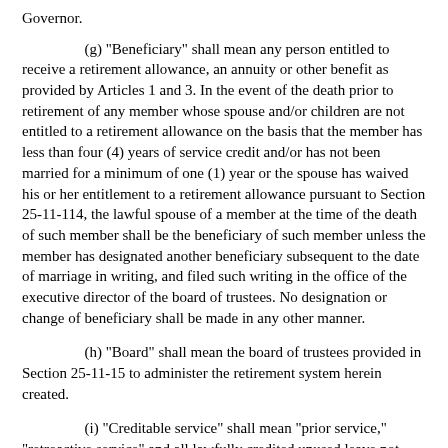Governor.
(g)  "Beneficiary" shall mean any person entitled to receive a retirement allowance, an annuity or other benefit as provided by Articles 1 and 3.  In the event of the death prior to retirement of any member whose spouse and/or children are not entitled to a retirement allowance on the basis that the member has less than four (4) years of service credit and/or has not been married for a minimum of one (1) year or the spouse has waived his or her entitlement to a retirement allowance pursuant to Section 25-11-114, the lawful spouse of a member at the time of the death of such member shall be the beneficiary of such member unless the member has designated another beneficiary subsequent to the date of marriage in writing, and filed such writing in the office of the executive director of the board of trustees.  No designation or change of beneficiary shall be made in any other manner.
(h)  "Board" shall mean the board of trustees provided in Section 25-11-15 to administer the retirement system herein created.
(i)  "Creditable service" shall mean "prior service," "retroactive service" and all lawfully credited unused leave not exceeding the accrual rates and limitations provided in Section 25-3-91 et seq., as of the date of withdrawal from service plus